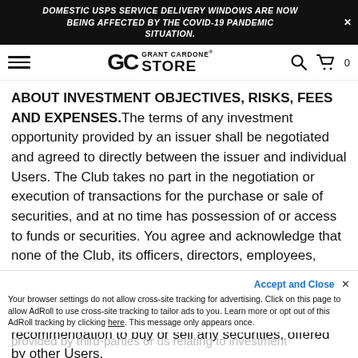DOMESTIC USPS SERVICE DELIVERY WINDOWS ARE NOW BEING AFFECTED BY THE COVID-19 PANDEMIC SITUATION.
[Figure (logo): Grant Cardone Store logo with hamburger menu, search icon, and cart icon in navigation bar]
ABOUT INVESTMENT OBJECTIVES, RISKS, FEES AND EXPENSES.The terms of any investment opportunity provided by an issuer shall be negotiated and agreed to directly between the issuer and individual Users. The Club takes no part in the negotiation or execution of transactions for the purchase or sale of securities, and at no time has possession of or access to funds or securities. You agree and acknowledge that none of the Club, its officers, directors, employees, representatives, affiliates or agents, including Grant Cardone, will participate in the offer to sell or solicitations of offers to buy any securities, or make a recommendation to buy or sell any securities, offered by other Users.
Accept and Close ×
Your browser settings do not allow cross-site tracking for advertising. Click on this page to allow AdRoll to use cross-site tracking to tailor ads to you. Learn more or opt out of this AdRoll tracking by clicking here. This message only appears once.
provided by third-parties or us relating to investment